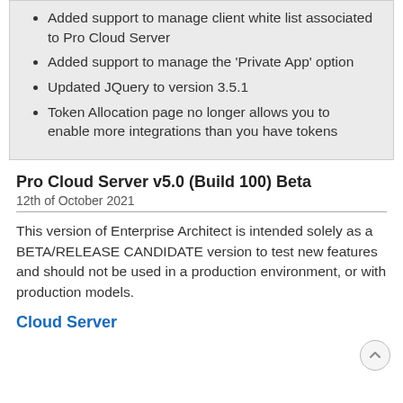Added support to manage client white list associated to Pro Cloud Server
Added support to manage the 'Private App' option
Updated JQuery to version 3.5.1
Token Allocation page no longer allows you to enable more integrations than you have tokens
Pro Cloud Server v5.0 (Build 100) Beta
12th of October 2021
This version of Enterprise Architect is intended solely as a BETA/RELEASE CANDIDATE version to test new features and should not be used in a production environment, or with production models.
Cloud Server